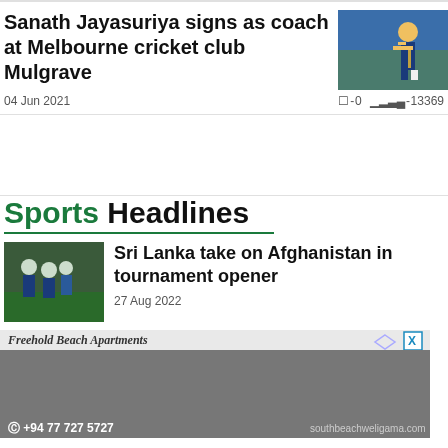Sanath Jayasuriya signs as coach at Melbourne cricket club Mulgrave
04 Jun 2021   □-0   ▐▌▌-13369
Sports Headlines
Sri Lanka take on Afghanistan in tournament opener
27 Aug 2022
[Figure (photo): Advertisement overlay - Freehold Beach Apartments - woman on beach]
S...g i...
[Figure (photo): Cricket player batting in blue Sri Lanka uniform]
[Figure (photo): Rugby/cricket sports thumbnail - players on green field]
[Figure (photo): Rugby ball on field at night]